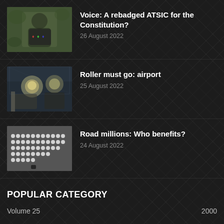[Figure (photo): Person wearing colorful t-shirt outdoors]
Voice: A rebadged ATSIC for the Constitution?
26 August 2022
[Figure (photo): Metallic sculptures or art pieces in an interior setting]
Roller must go: airport
25 August 2022
[Figure (photo): Rows of white small objects arranged on a surface]
Road millions: Who benefits?
24 August 2022
POPULAR CATEGORY
Volume 25                                                    2000